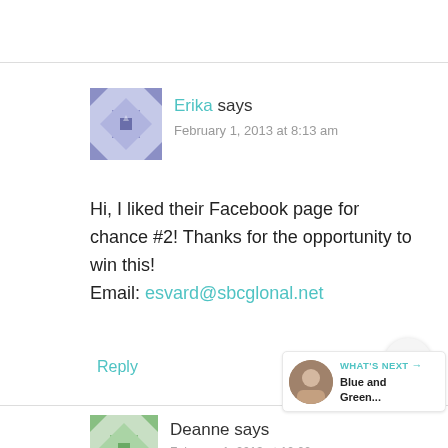[Figure (illustration): Blue/purple decorative avatar icon with geometric quilt pattern for user Erika]
Erika says
February 1, 2013 at 8:13 am
Hi, I liked their Facebook page for chance #2! Thanks for the opportunity to win this!
Email: esvard@sbcglonal.net
Reply
[Figure (illustration): Green decorative avatar icon with geometric quilt pattern for user Deanne]
Deanne says
February 1, 2013 at 10:00